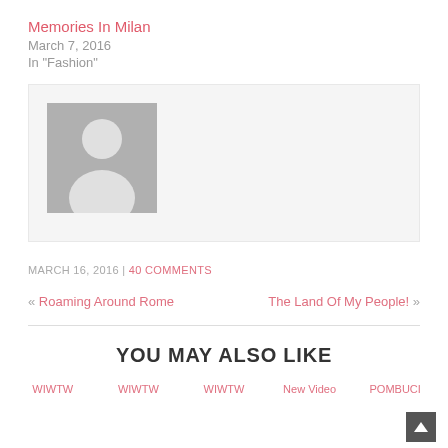Memories In Milan
March 7, 2016
In "Fashion"
[Figure (photo): Author box with grey avatar/silhouette placeholder image on light grey background]
MARCH 16, 2016 | 40 COMMENTS
« Roaming Around Rome
The Land Of My People! »
YOU MAY ALSO LIKE
WIWTW  WIWTW  WIWTW  New Video  POMBUCI